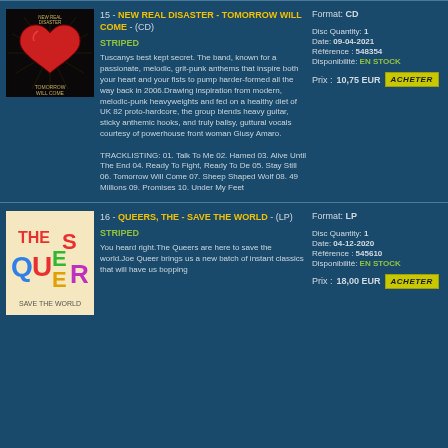[Figure (illustration): Album cover for New Real Disaster - Tomorrow Will Come: dark background with illustrated red anatomical heart with rays]
15 - NEW REAL DISASTER - TOMORROW WILL COME - (CD) STRIPED
Tuscanys best kept secret. The band, known for a passionate, melodic, grit-punk anthems that inspire both your heart and your fists to pump harder-formed all the way back in 2006.Drawing inspiration from modern, melodic-punk heavyweights and fed on a healthy diet of UK 82 proto-hardcore, the group blends heavy guitar, sticky anthemic hooks, and truly ballsy, guttural vocals courtesy of powerhouse front woman Giusy Amaro.

TRACKLISTING: 01. Talk To Me 02. Hamed 03. Alive Until The End 04. Ready To Fight, Ready To De 05. Stay Still 06. Tomorrow Will Come 07. Sheep Shaped Wolf 08. 49 Millions 09. Promises 10. Under My Feet
Format: CD
Disc Quantity: 1
Date: 09-04-2021
Référence : 548354
Disponibilité: EN STOCK
Prix : 10,75 EUR
[Figure (illustration): Album cover for The Queers - Save The World: cream background with colorful cartoon-style letters spelling THE QUEERS]
16 - QUEERS, THE - SAVE THE WORLD - (LP) STRIPED
You heard right.The Queers are here to save the world.Joe Queer brings us a new batch of instant classics that will have us bopping
Format: LP
Disc Quantity: 1
Date: 04-12-2020
Référence : 545610
Disponibilité: EN STOCK
Prix : 18,00 EUR